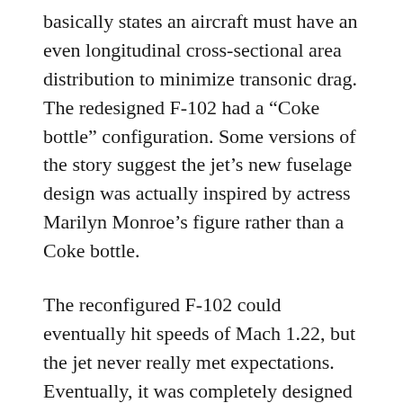basically states an aircraft must have an even longitudinal cross-sectional area distribution to minimize transonic drag. The redesigned F-102 had a “Coke bottle” configuration. Some versions of the story suggest the jet’s new fuselage design was actually inspired by actress Marilyn Monroe’s figure rather than a Coke bottle.
The reconfigured F-102 could eventually hit speeds of Mach 1.22, but the jet never really met expectations. Eventually, it was completely designed into a configuration that ultimately resulted in the much more successful F-106 Delta Dart.